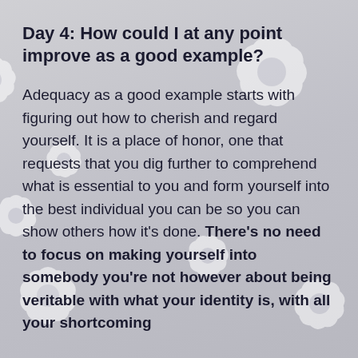Day 4: How could I at any point improve as a good example?
Adequacy as a good example starts with figuring out how to cherish and regard yourself. It is a place of honor, one that requests that you dig further to comprehend what is essential to you and form yourself into the best individual you can be so you can show others how it's done. There's no need to focus on making yourself into somebody you're not however about being veritable with what your identity is, with all your shortcoming